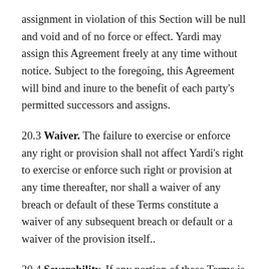assignment in violation of this Section will be null and void and of no force or effect. Yardi may assign this Agreement freely at any time without notice. Subject to the foregoing, this Agreement will bind and inure to the benefit of each party's permitted successors and assigns.
20.3 Waiver. The failure to exercise or enforce any right or provision shall not affect Yardi's right to exercise or enforce such right or provision at any time thereafter, nor shall a waiver of any breach or default of these Terms constitute a waiver of any subsequent breach or default or a waiver of the provision itself..
20.4 Severability. If any portion of these Terms is found by a court of competent jurisdiction to be invalid or unenforceable, the parties nevertheless agree that